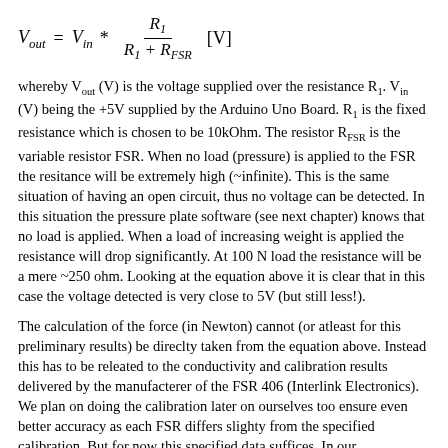whereby V_out (V) is the voltage supplied over the resistance R_1. V_in (V) being the +5V supplied by the Arduino Uno Board. R_1 is the fixed resistance which is chosen to be 10kOhm. The resistor R_FSR is the variable resistor FSR. When no load (pressure) is applied to the FSR the resitance will be extremely high (~infinite). This is the same situation of having an open circuit, thus no voltage can be detected. In this situation the pressure plate software (see next chapter) knows that no load is applied. When a load of increasing weight is applied the resistance will drop significantly. At 100 N load the resistance will be a mere ~250 ohm. Looking at the equation above it is clear that in this case the voltage detected is very close to 5V (but still less!).
The calculation of the force (in Newton) cannot (or atleast for this preliminary results) be direclty taken from the equation above. Instead this has to be releated to the conductivity and calibration results delivered by the manufacterer of the FSR 406 (Interlink Electronics). We plan on doing the calibration later on ourselves too ensure even better accuracy as each FSR differs slighty from the specified calibration. But for now this specified data suffices. In our